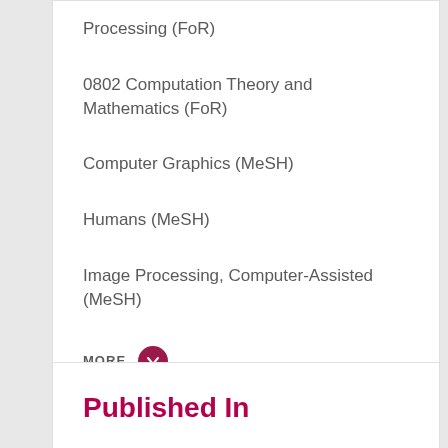Processing (FoR)
0802 Computation Theory and Mathematics (FoR)
Computer Graphics (MeSH)
Humans (MeSH)
Image Processing, Computer-Assisted (MeSH)
MORE
Published In
IEEE Transactions on Visualization and